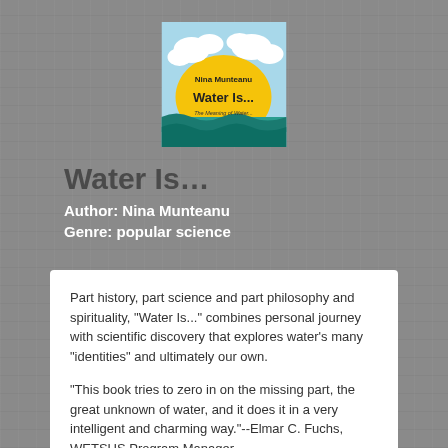[Figure (illustration): Book cover for 'Water Is...' by Nina Munteanu, showing a yellow sun with clouds and waves of water at the bottom, with the text 'The Meaning of Water' at the bottom of the cover.]
Water Is…
Author: Nina Munteanu
Genre: popular science
Part history, part science and part philosophy and spirituality, "Water Is..." combines personal journey with scientific discovery that explores water's many "identities" and ultimately our own.

"This book tries to zero in on the missing part, the great unknown of water, and it does it in a very intelligent and charming way."--Elmar C. Fuchs, WETSUS Program Manager